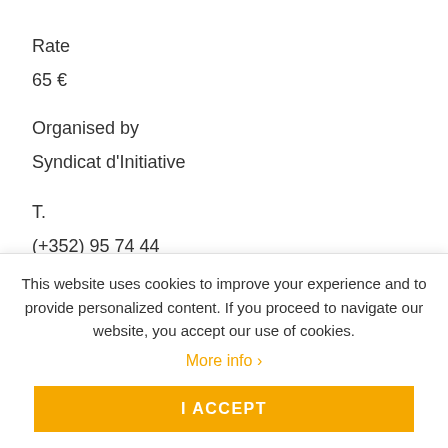Rate
65 €
Organised by
Syndicat d'Initiative
T.
(+352) 95 74 44
F.
This website uses cookies to improve your experience and to provide personalized content. If you proceed to navigate our website, you accept our use of cookies.
More info >
I ACCEPT